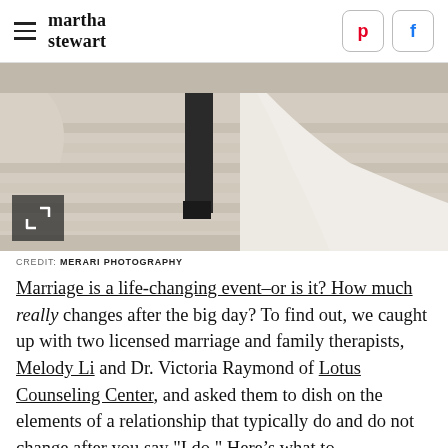martha stewart
[Figure (photo): Couple standing on white marble steps, groom in black suit, bride in white flowing gown, lower half only visible]
CREDIT: MERARI PHOTOGRAPHY
Marriage is a life-changing event–or is it? How much really changes after the big day? To find out, we caught up with two licensed marriage and family therapists, Melody Li and Dr. Victoria Raymond of Lotus Counseling Center, and asked them to dish on the elements of a relationship that typically do and do not change after you say "I do." Here's what to